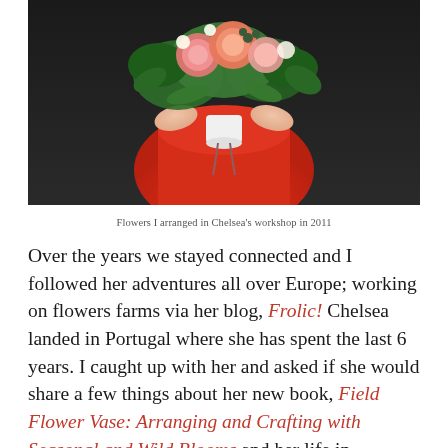[Figure (photo): A person in a red dress holding a large lush floral bouquet with pink garden roses, greenery, and various flowers against a dark background.]
Flowers I arranged in Chelsea's workshop in 2011
Over the years we stayed connected and I followed her adventures all over Europe; working on flowers farms via her blog, Frolic! Chelsea landed in Portugal where she has spent the last 6 years. I caught up with her and asked if she would share a few things about her new book, Field Flower Vase: Arranging and Crafting with Seasonal and Wild Blooms and her life in